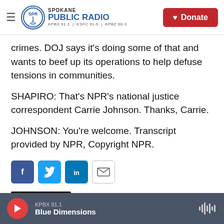Spokane Public Radio — KPBX 91.1 | KSFC 91.9 | KPBZ 90.3 — Donate
crimes. DOJ says it's doing some of that and wants to beef up its operations to help defuse tensions in communities.
SHAPIRO: That's NPR's national justice correspondent Carrie Johnson. Thanks, Carrie.
JOHNSON: You're welcome. Transcript provided by NPR, Copyright NPR.
[Figure (other): Social share buttons: Facebook, Twitter, LinkedIn, Email]
[Figure (photo): Partially visible thumbnail image at bottom left]
KPBX 91.1 — Blue Dimensions (audio player bar)